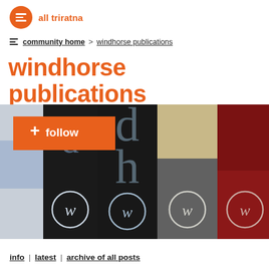all triratna
community home > windhorse publications
windhorse publications
[Figure (photo): Close-up photo of book spines with Windhorse Publications logo (stylized 'w' in a circle), with a Follow button overlay in orange]
info | latest | archive of all posts